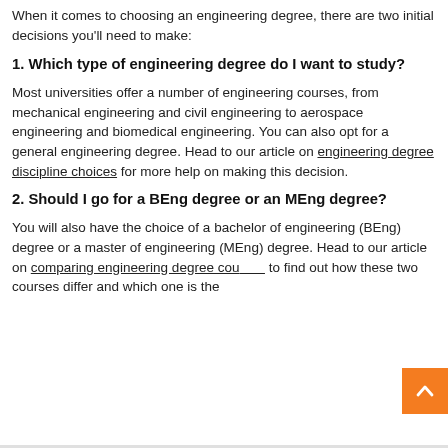When it comes to choosing an engineering degree, there are two initial decisions you'll need to make:
1. Which type of engineering degree do I want to study?
Most universities offer a number of engineering courses, from mechanical engineering and civil engineering to aerospace engineering and biomedical engineering. You can also opt for a general engineering degree. Head to our article on engineering degree discipline choices for more help on making this decision.
2. Should I go for a BEng degree or an MEng degree?
You will also have the choice of a bachelor of engineering (BEng) degree or a master of engineering (MEng) degree. Head to our article on comparing engineering degree courses to find out how these two courses differ and which one is the